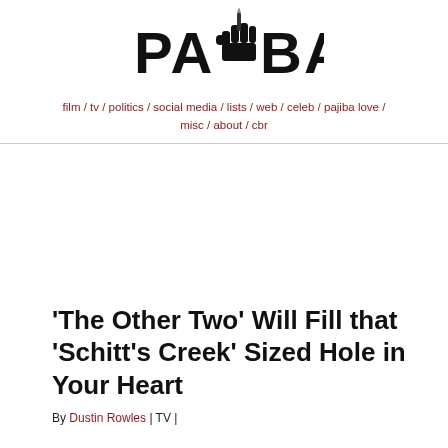PAJIBA
film / tv / politics / social media / lists / web / celeb / pajiba love / misc / about / cbr
'The Other Two' Will Fill that 'Schitt's Creek' Sized Hole in Your Heart
By Dustin Rowles | TV |